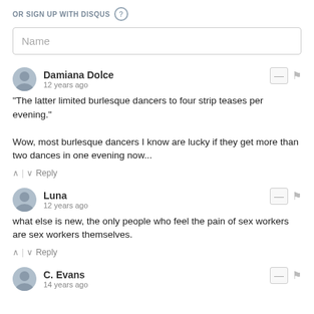OR SIGN UP WITH DISQUS ?
Name
Damiana Dolce
12 years ago
"The latter limited burlesque dancers to four strip teases per evening."

Wow, most burlesque dancers I know are lucky if they get more than two dances in one evening now...
^ | v  Reply
Luna
12 years ago
what else is new, the only people who feel the pain of sex workers are sex workers themselves.
^ | v  Reply
C. Evans
14 years ago